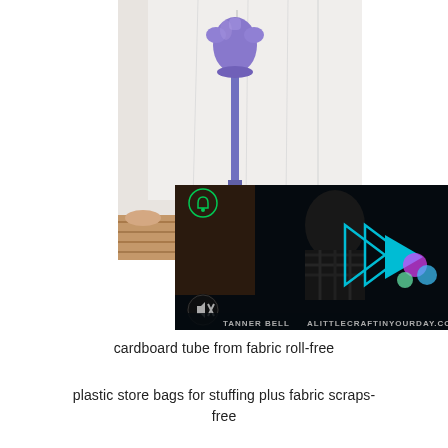[Figure (photo): A purple inflatable dress form/mannequin on a cardboard tube pole, positioned against a white fabric backdrop, with a patterned rug visible at the bottom.]
[Figure (screenshot): A dark video player overlay showing a play button with blue/cyan arrow outlines and a solid cyan arrow, with a person visible in the background and text at the bottom reading TANNER BELL ALITTLECRAFTINYOURDAY.COM. A mute icon is visible at the lower left.]
cardboard tube from fabric roll-free
plastic store bags for stuffing plus fabric scraps-free